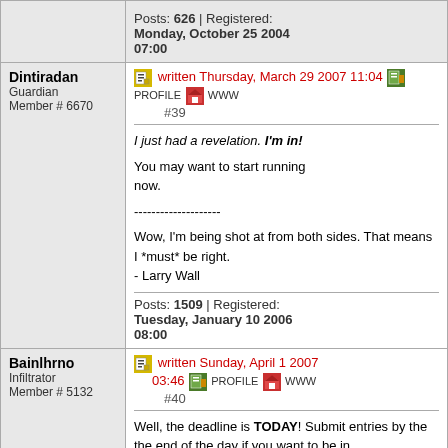| User | Post |
| --- | --- |
|  | Posts: 626 | Registered: Monday, October 25 2004 07:00 |
| Dintiradan
Guardian
Member # 6670 | written Thursday, March 29 2007 11:04 [PROFILE] [WWW]
#39
---
I just had a revelation. I'm in!

You may want to start running now.

--------------------
Wow, I'm being shot at from both sides. That means I *must* be right.
- Larry Wall
---
Posts: 1509 | Registered: Tuesday, January 10 2006 08:00 |
| Bainlhrno
Infiltrator
Member # 5132 | written Sunday, April 1 2007 03:46 [PROFILE] [WWW]
#40
---
Well, the deadline is TODAY! Submit entries by the the end of the day if you want to be in.

For the record, I have three submissions so far. |